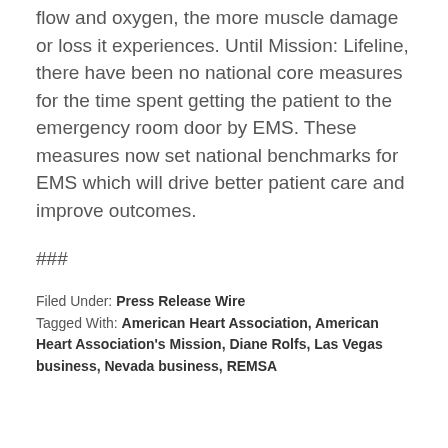flow and oxygen, the more muscle damage or loss it experiences. Until Mission: Lifeline, there have been no national core measures for the time spent getting the patient to the emergency room door by EMS. These measures now set national benchmarks for EMS which will drive better patient care and improve outcomes.
###
Filed Under: Press Release Wire
Tagged With: American Heart Association, American Heart Association's Mission, Diane Rolfs, Las Vegas business, Nevada business, REMSA